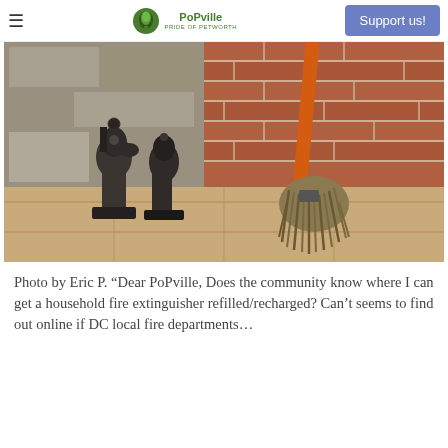≡ PoPville Pride of Petworth | Support us!
[Figure (photo): Photo of fireplace tools (dark metal andirons shaped like horse heads) and a mop with an orange handle, set against a brick wall and stone floor.]
Photo by Eric P. “Dear PoPville, Does the community know where I can get a household fire extinguisher refilled/recharged? Can’t seems to find out online if DC local fire departments…